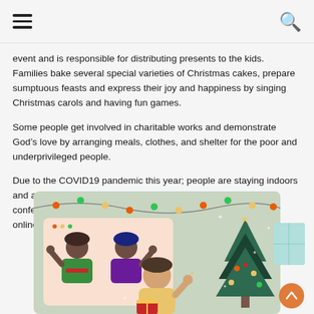[hamburger menu] [search icon]
event and is responsible for distributing presents to the kids. Families bake several special varieties of Christmas cakes, prepare sumptuous feasts and express their joy and happiness by singing Christmas carols and having fun games.
Some people get involved in charitable works and demonstrate God’s love by arranging meals, clothes, and shelter for the poor and underprivileged people.
Due to the COVID19 pandemic this year; people are staying indoors and are hesitant to travel and meet other people. Hence, video conferencing calls are a great way to meet friends and relatives online to celebrate Christmas safely, with love and care.
[Figure (illustration): Illustration of people doing a video call to celebrate Christmas, with a Christmas tree, string lights, and festive decorations in the background.]